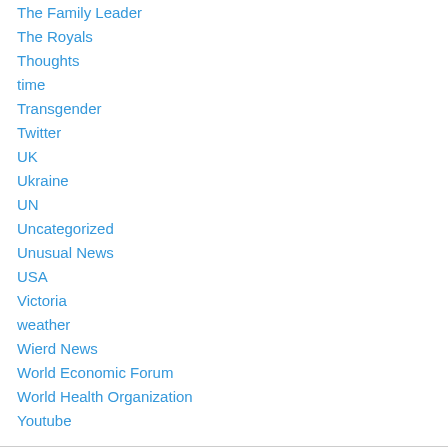The Family Leader
The Royals
Thoughts
time
Transgender
Twitter
UK
Ukraine
UN
Uncategorized
Unusual News
USA
Victoria
weather
Wierd News
World Economic Forum
World Health Organization
Youtube